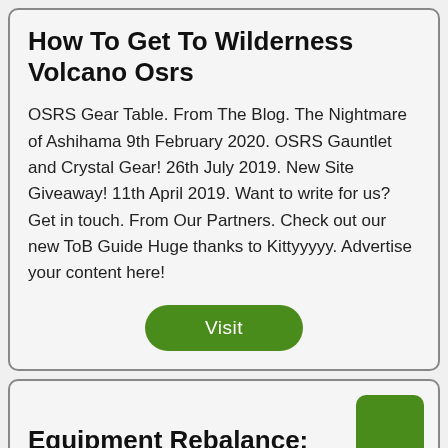How To Get To Wilderness Volcano Osrs
OSRS Gear Table. From The Blog. The Nightmare of Ashihama 9th February 2020. OSRS Gauntlet and Crystal Gear! 26th July 2019. New Site Giveaway! 11th April 2019. Want to write for us? Get in touch. From Our Partners. Check out our new ToB Guide Huge thanks to Kittyyyyy. Advertise your content here!
Visit
Equipment Rebalance: Ranged